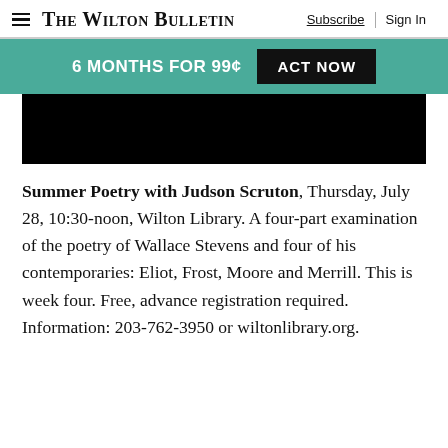The Wilton Bulletin | Subscribe | Sign In
6 MONTHS FOR 99¢  ACT NOW
[Figure (photo): Black rectangular image placeholder]
Summer Poetry with Judson Scruton, Thursday, July 28, 10:30-noon, Wilton Library. A four-part examination of the poetry of Wallace Stevens and four of his contemporaries: Eliot, Frost, Moore and Merrill. This is week four. Free, advance registration required. Information: 203-762-3950 or wiltonlibrary.org.